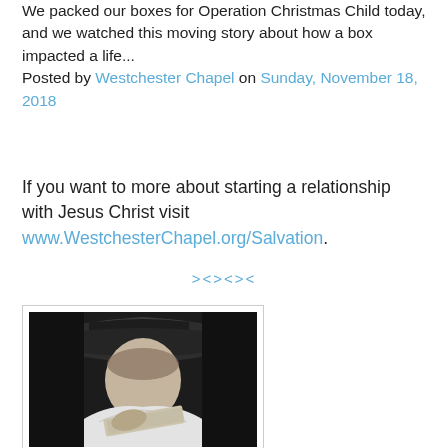We packed our boxes for Operation Christmas Child today, and we watched this moving story about how a box impacted a life...
Posted by Westchester Chapel on Sunday, November 18, 2018
If you want to more about starting a relationship with Jesus Christ visit www.WestchesterChapel.org/Salvation.
><><><
[Figure (photo): Black and white photograph of a person wearing a wide-brimmed hat, looking downward, appearing to write or read something]